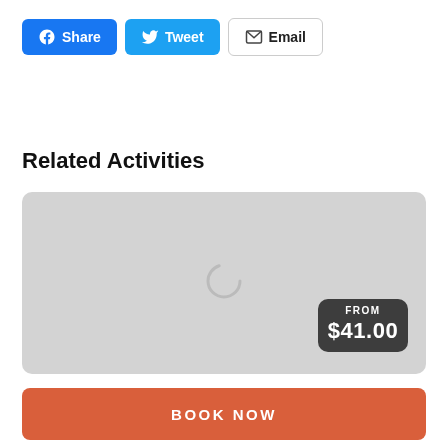[Figure (screenshot): Social share buttons: Facebook Share (blue), Twitter Tweet (blue), Email (outlined)]
Related Activities
[Figure (photo): Gray placeholder image card with a loading spinner icon and a price badge showing FROM $41.00]
BOOK NOW